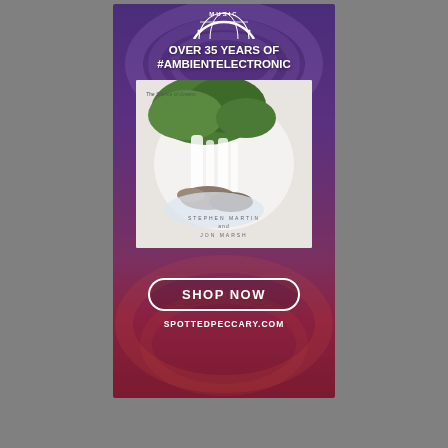[Figure (illustration): Advertisement for Spotted Peccary Music label. Purple-to-red gradient background with swirl patterns. Top shows partial circular logo reading 'MUSIC'. Bold white text reads 'OVER 35 YEARS OF #AMBIENTELECTRONIC'. Center shows an album cover with a waterfall and green foliage photo on a white/grey background with artist text. Bottom has a white-outlined rounded rectangle 'SHOP NOW' button and white text 'SPOTTEDPECCARY.COM'.]